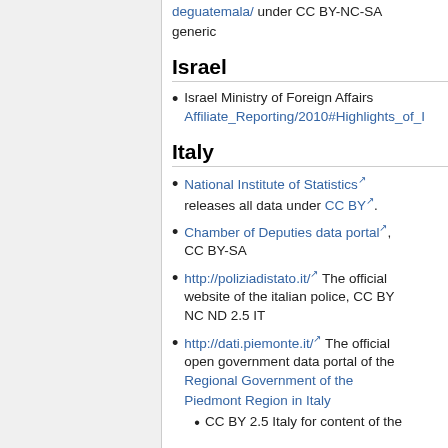deguatemala/ under CC BY-NC-SA generic
Israel
Israel Ministry of Foreign Affairs Affiliate_Reporting/2010#Highlights_of_I
Italy
National Institute of Statistics releases all data under CC BY.
Chamber of Deputies data portal, CC BY-SA
http://poliziadistato.it/ The official website of the italian police, CC BY NC ND 2.5 IT
http://dati.piemonte.it/ The official open government data portal of the Regional Government of the Piedmont Region in Italy
CC BY 2.5 Italy for content of the